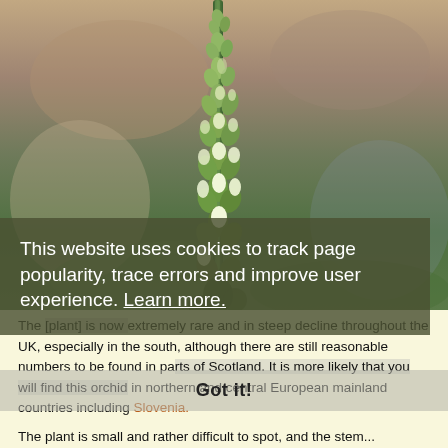[Figure (photo): Close-up photograph of a green orchid plant stem with multiple small white-green flower buds, against a blurred green and brown background]
This website uses cookies to track page popularity, trace errors and improve user experience. Learn more.
Got it!
The [plant] is now extremely rare and in steep decline throughout the UK, especially in the south, although there are still reasonable numbers to be found in parts of Scotland. It is more likely that you will find this orchid in northern and central European mainland countries including Slovenia.
The plant is small and rather difficult to spot, and the stem...